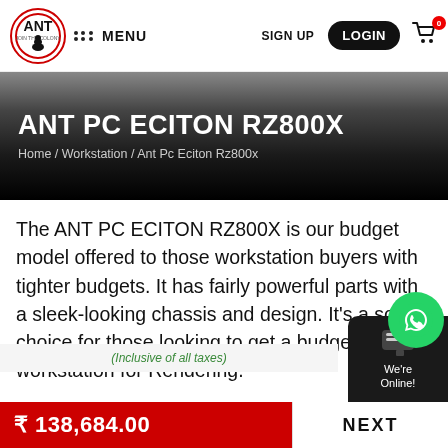ANT MENU SIGN UP LOGIN
ANT PC ECITON RZ800X
Home / Workstation / Ant Pc Eciton Rz800x
The ANT PC ECITON RZ800X is our budget model offered to those workstation buyers with tighter budgets. It has fairly powerful parts with a sleek-looking chassis and design. It’s a solid choice for those looking to get a budget workstation for Rendering.
(Inclusive of all taxes)
₹ 138,684.00
NEXT
We’re Online!